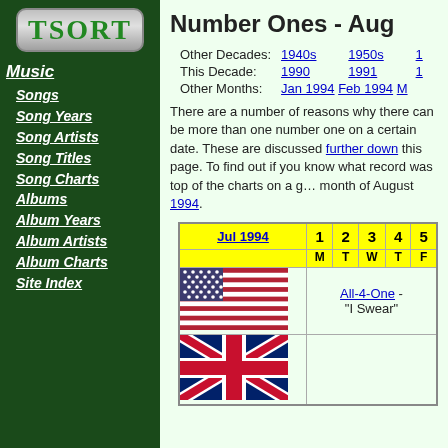[Figure (logo): TSORT logo in green text on grey rounded box]
Music
Songs
Song Years
Song Artists
Song Titles
Song Charts
Albums
Album Years
Album Artists
Album Charts
Site Index
Number Ones - Aug
Other Decades: 1940s  1950s  1...
This Decade:   1990  1991  1...
Other Months:  Jan 1994  Feb 1994  M...
There are a number of reasons why there can be more than one number one on a certain date. These are discussed further down this page. To find out if you know what record was top of the charts on a given date please use our page for the month of August 1994.
| Jul 1994 | 1 M | 2 T | 3 W | 4 T | 5 F |
| --- | --- | --- | --- | --- | --- |
| [US Flag] | All-4-One - "I Swear" |
| [UK Flag] |  |